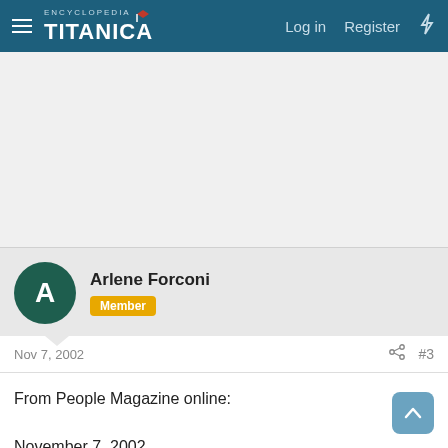Encyclopedia Titanica — Log in  Register
[Figure (other): Advertisement area (blank white/grey rectangle)]
Arlene Forconi
Member
Nov 7, 2002   #3
From People Magazine online:

November 7, 2002